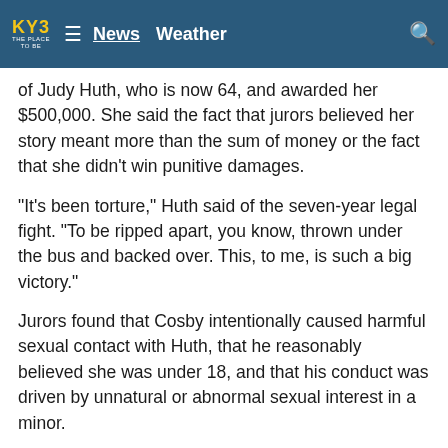KY3 THE PLACE TO BE — News   Weather
of Judy Huth, who is now 64, and awarded her $500,000. She said the fact that jurors believed her story meant more than the sum of money or the fact that she didn't win punitive damages.
“It’s been torture,” Huth said of the seven-year legal fight. “To be ripped apart, you know, thrown under the bus and backed over. This, to me, is such a big victory.”
Jurors found that Cosby intentionally caused harmful sexual contact with Huth, that he reasonably believed she was under 18, and that his conduct was driven by unnatural or abnormal sexual interest in a minor.
The jurors’ decision is a major legal defeat for the 84-year-old entertainer once hailed as America’s dad. It comes nearly a year after his Pennsylvania criminal conviction for sexual assault was thrown out and he was freed from